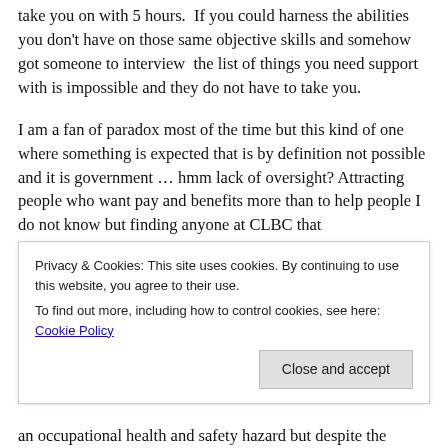take you on with 5 hours. If you could harness the abilities you don't have on those same objective skills and somehow got someone to interview the list of things you need support with is impossible and they do not have to take you.
I am a fan of paradox most of the time but this kind of one where something is expected that is by definition not possible and it is government … hmm lack of oversight? Attracting people who want pay and benefits more than to help people I do not know but finding anyone at CLBC that
Privacy & Cookies: This site uses cookies. By continuing to use this website, you agree to their use.
To find out more, including how to control cookies, see here: Cookie Policy
an occupational health and safety hazard but despite the